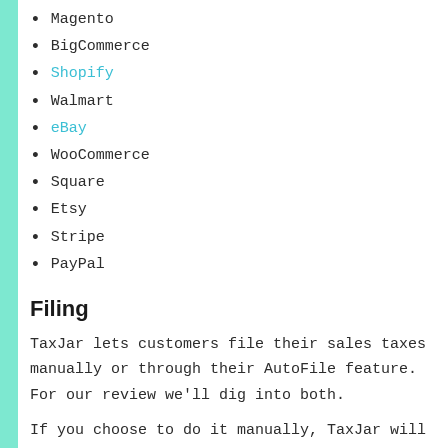Magento
BigCommerce
Shopify
Walmart
eBay
WooCommerce
Square
Etsy
Stripe
PayPal
Filing
TaxJar lets customers file their sales taxes manually or through their AutoFile feature. For our review we'll dig into both.
If you choose to do it manually, TaxJar will allow you to connect